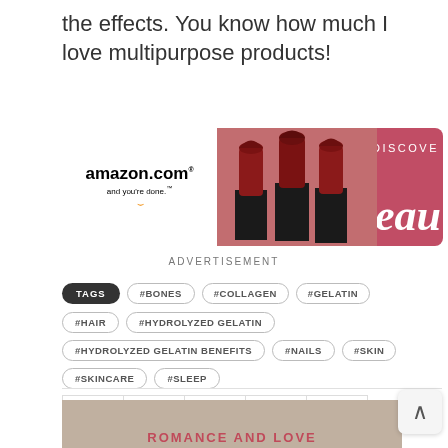the effects. You know how much I love multipurpose products!
[Figure (screenshot): Amazon.com advertisement banner for beauty products featuring lipsticks and 'Discover beauty' text on pink background]
ADVERTISEMENT
#BONES
#COLLAGEN
#GELATIN
#HAIR
#HYDROLYZED GELATIN
#HYDROLYZED GELATIN BENEFITS
#NAILS
#SKIN
#SKINCARE
#SLEEP
[Figure (screenshot): Social share buttons for Twitter, Facebook, Google+, Pinterest, and one more]
[Figure (photo): Partial image at the bottom showing a person with text ROMANCE AND LOVE in pink]